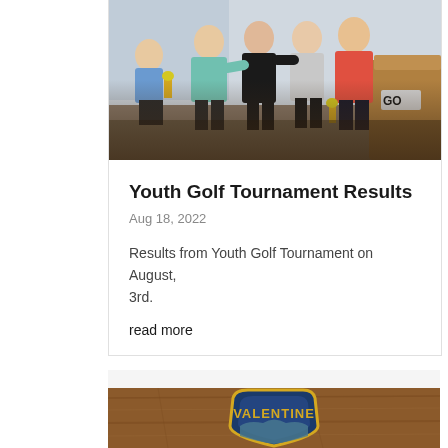[Figure (photo): Group photo of youth golf tournament participants posing with trophies indoors]
Youth Golf Tournament Results
Aug 18, 2022
Results from Youth Golf Tournament on August, 3rd.
read more
[Figure (photo): Valentine city/town patch badge with yellow lettering on blue background, placed on a wooden surface]